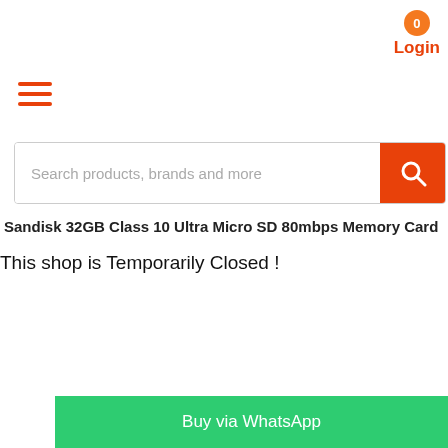[Figure (screenshot): Cart icon badge with orange circle showing 0]
Login
[Figure (other): Hamburger menu icon with three orange horizontal lines]
[Figure (screenshot): Search bar with placeholder text and orange search button]
Sandisk 32GB Class 10 Ultra Micro SD 80mbps Memory Card
This shop is Temporarily Closed !
Buy via WhatsApp